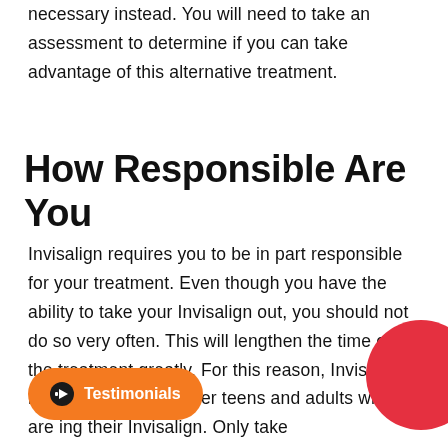necessary instead. You will need to take an assessment to determine if you can take advantage of this alternative treatment.
How Responsible Are You
Invisalign requires you to be in part responsible for your treatment. Even though you have the ability to take your Invisalign out, you should not do so very often. This will lengthen the time of the treatment greatly. For this reason, Invisalign may more suited for older teens and adults who are disciplined in wearing their Invisalign. Only take the treatment out when you need to the most.